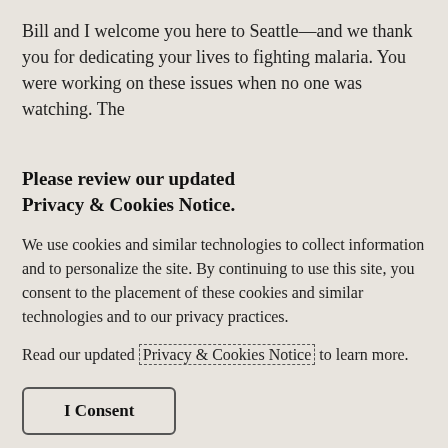Bill and I welcome you here to Seattle—and we thank you for dedicating your lives to fighting malaria. You were working on these issues when no one was watching. The
Please review our updated Privacy & Cookies Notice.
We use cookies and similar technologies to collect information and to personalize the site. By continuing to use this site, you consent to the placement of these cookies and similar technologies and to our privacy practices.
Read our updated Privacy & Cookies Notice to learn more.
I Consent